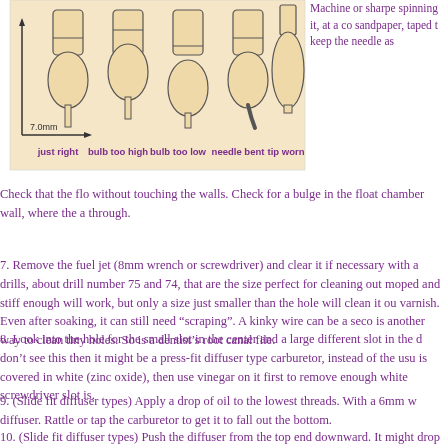[Figure (illustration): Five needle profile diagrams labeled: just right, bulb too high, bulb too low, needle bent, tip worn. Shows cross-sections of needles with a 7.0mm measurement indicated.]
Machine or sharpen it, spinning it, at a co sandpaper, taped t keep the needle as
Check that the flo without touching the walls. Check for a bulge in the float chamber wall, where the a through.
7. Remove the fuel jet (8mm wrench or screwdriver) and clear it if necessary with a drills, about drill number 75 and 74, that are the size perfect for cleaning out moped and stiff enough will work, but only a size just smaller than the hole will clean it ou varnish. Even after soaking, it can still need “scraping”. A kinky wire can be a seco is another way to clean tiny holes. So is a dentist’s root canal file.
8. Look into the hole for the small slot in the center and a large different slot in the d don’t see this then it might be a press-fit diffuser type carburetor, instead of the usu is covered in white (zinc oxide), then use vinegar on it first to remove enough white screwdriver slot is.
9. (Slide fit diffuser types) Apply a drop of oil to the lowest threads. With a 6mm w diffuser. Rattle or tap the carburetor to get it to fall out the bottom.
10. (Slide fit diffuser types) Push the diffuser from the top end downward. It might drop out. If the diffuser cannot be easily removed, lightly tap on the top end with a small hammer and punch. Clear the diffuser with a high pressure air line. Use an ordinary bread wrap twist tie, to “poke out” the two idle holes in the diffuser. Use a bigger wire (paper clip?) to scrape the center hole. Carefully (wear goggles) use